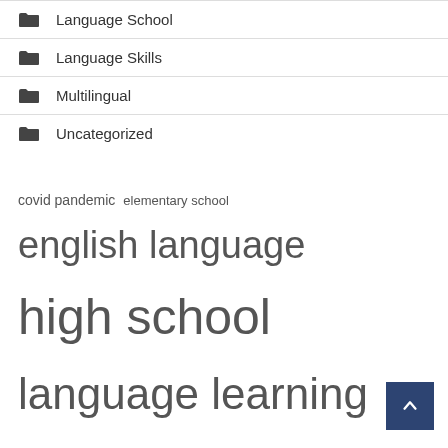Language School
Language Skills
Multilingual
Uncategorized
covid pandemic  elementary school  english language  high school  language learning  language school  language skills  long term  payday loans  public schools  school district  school students  school year  united states  young people